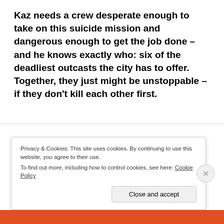Kaz needs a crew desperate enough to take on this suicide mission and dangerous enough to get the job done – and he knows exactly who: six of the deadliest outcasts the city has to offer. Together, they just might be unstoppable – if they don't kill each other first.
Privacy & Cookies: This site uses cookies. By continuing to use this website, you agree to their use. To find out more, including how to control cookies, see here: Cookie Policy
Close and accept